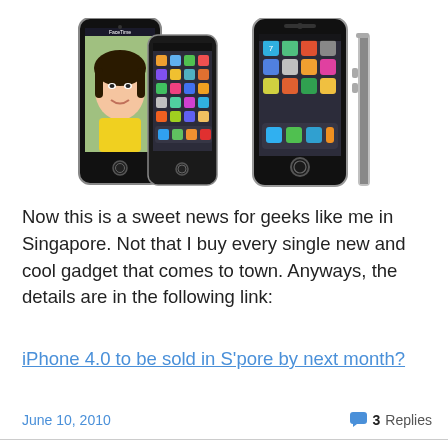[Figure (photo): Two iPhone 4 devices shown from angled front views (left group) and front + side profile views (right group) — product marketing images of iPhone 4 in black.]
Now this is a sweet news for geeks like me in Singapore. Not that I buy every single new and cool gadget that comes to town. Anyways, the details are in the following link:
iPhone 4.0 to be sold in S'pore by next month?
June 10, 2010   3 Replies